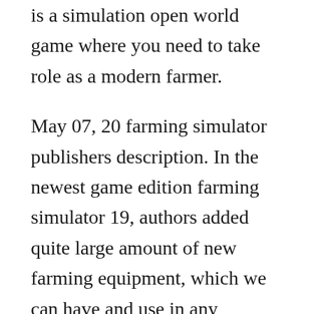is a simulation open world game where you need to take role as a modern farmer.
May 07, 20 farming simulator publishers description. In the newest game edition farming simulator 19, authors added quite large amount of new farming equipment, which we can have and use in any moment. Through several activities such as plowing fields, seeding and baling you build up financial resources allowing you to buy. Mouse movement is used to control the movement of the players hand.